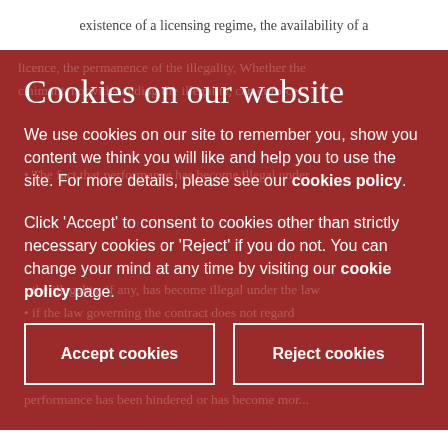existence of a licensing regime, the availability of a
Cookies on our website
We use cookies on our site to remember you, show you content we think you will like and help you to use the site. For more details, please see our cookies policy.
Click 'Accept' to consent to cookies other than strictly necessary cookies or 'Reject' if you do not. You can change your mind at any time by visiting our cookie policy page.
Accept cookies
Reject cookies